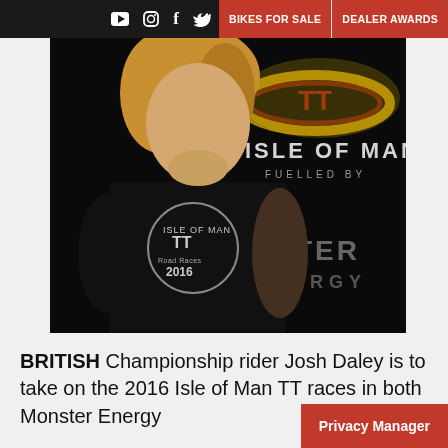BIKES FOR SALE | DEALER AWARDS
[Figure (photo): Young male rider with blonde hair wearing a black Isle of Man TT Road Races 2016 t-shirt, standing in front of a Monster Energy Isle of Man TT branded backdrop]
BRITISH Championship rider Josh Daley is to take on the 2016 Isle of Man TT races in both Monster Energy...